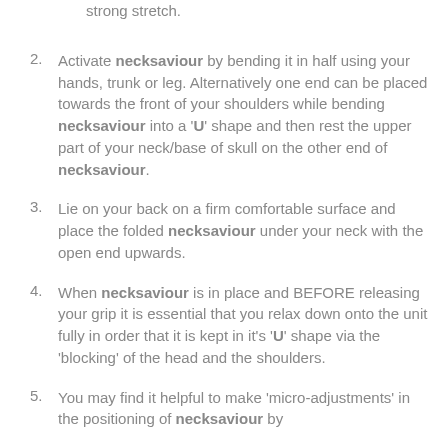strong stretch.
2. Activate necksaviour by bending it in half using your hands, trunk or leg. Alternatively one end can be placed towards the front of your shoulders while bending necksaviour into a 'U' shape and then rest the upper part of your neck/base of skull on the other end of necksaviour.
3. Lie on your back on a firm comfortable surface and place the folded necksaviour under your neck with the open end upwards.
4. When necksaviour is in place and BEFORE releasing your grip it is essential that you relax down onto the unit fully in order that it is kept in it's 'U' shape via the 'blocking' of the head and the shoulders.
5. You may find it helpful to make 'micro-adjustments' in the positioning of necksaviour by